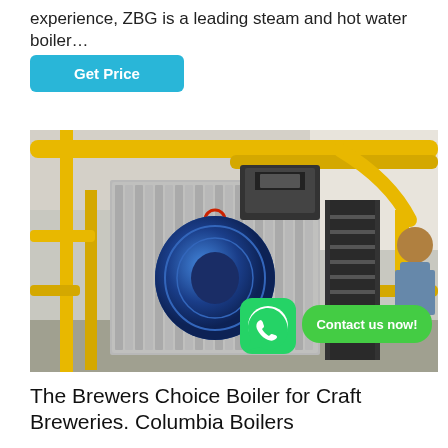experience, ZBG is a leading steam and hot water boiler…
Get Price
[Figure (photo): Industrial steam boiler room with large cylindrical blue boiler, yellow gas pipes, black metal staircases, and a worker on the right. A WhatsApp icon with 'Contact us now!' button overlay is visible at the bottom right.]
The Brewers Choice Boiler for Craft Breweries. Columbia Boilers